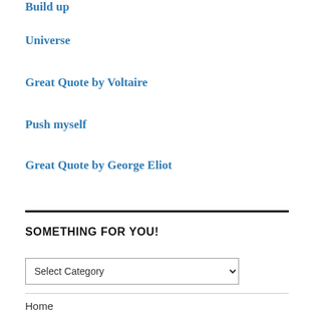Build up
Universe
Great Quote by Voltaire
Push myself
Great Quote by George Eliot
SOMETHING FOR YOU!
Select Category
Home